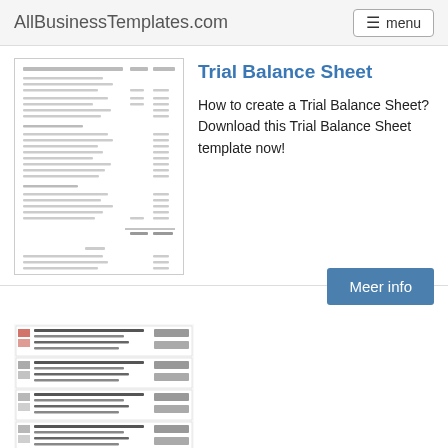AllBusinessTemplates.com  menu
[Figure (screenshot): Preview thumbnail of a Trial Balance Sheet document]
Trial Balance Sheet
How to create a Trial Balance Sheet? Download this Trial Balance Sheet template now!
Meer info
[Figure (screenshot): Preview thumbnail of a spreadsheet template with multiple rows and columns in a table format]